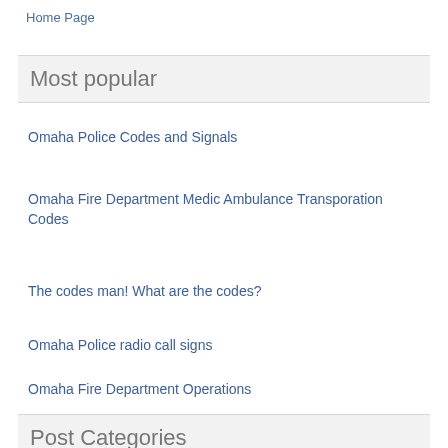Home Page
Most popular
Omaha Police Codes and Signals
Omaha Fire Department Medic Ambulance Transporation Codes
The codes man! What are the codes?
Omaha Police radio call signs
Omaha Fire Department Operations
Post Categories